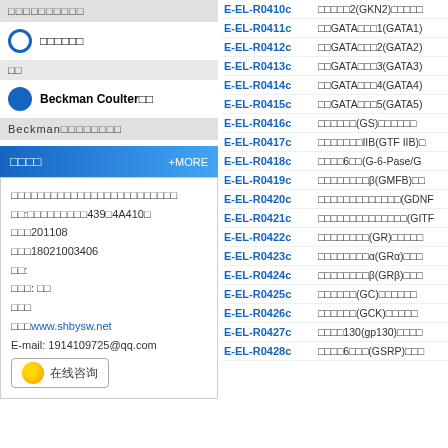□□□□□□□□□□
○ □□□□□□
□□
● Beckman Coulter□□
Beckman□□□□□□□□
□□□□ +MORE
□□□□□□□□□□□□□□□□□□□□□□□□□
□□:□□□□□□□□□439□4A410□
□□□201108
□□□18021003406
□□:
□□□: □□
□□□
□□□www.shbysw.net
E-mail: 1914109725@qq.com
| Catalog | Description |
| --- | --- |
| E-EL-R0410c | □□□□□2(GKN2)□□□□□□ |
| E-EL-R0411c | □□GATA□□□1(GATA1)□□ |
| E-EL-R0412c | □□GATA□□□2(GATA2)□□ |
| E-EL-R0413c | □□GATA□□□3(GATA3)□□ |
| E-EL-R0414c | □□GATA□□□4(GATA4)□□ |
| E-EL-R0415c | □□GATA□□□5(GATA5)□□ |
| E-EL-R0416c | □□□□□□(GS)□□□□□□□□ |
| E-EL-R0417c | □□□□□□□IIB(GTF IIB)□□ |
| E-EL-R0418c | □□□□6□□(G-6-Pase/G□□ |
| E-EL-R0419c | □□□□□□□□β(GMFB)□□□ |
| E-EL-R0420c | □□□□□□□□□□□□□(GDNF□ |
| E-EL-R0421c | □□□□□□□□□□□□□□(GITF□ |
| E-EL-R0422c | □□□□□□□□(GR)□□□□□□□ |
| E-EL-R0423c | □□□□□□□□α(GRα)□□□□□ |
| E-EL-R0424c | □□□□□□□□β(GRβ)□□□□□ |
| E-EL-R0425c | □□□□□□(GC)□□□□□□□□ |
| E-EL-R0426c | □□□□□□(GCK)□□□□□□□ |
| E-EL-R0427c | □□□□130(gp130)□□□□□ |
| E-EL-R0428c | □□□□6□□□(GSRP)□□□□ |